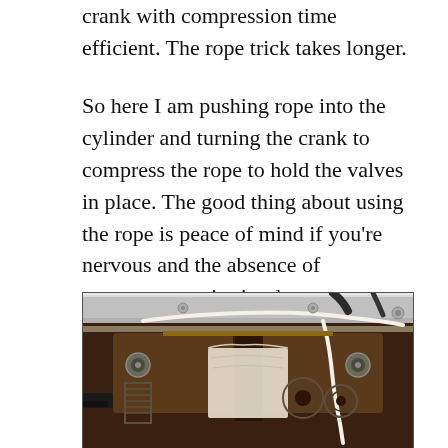crank with compression time efficient. The rope trick takes longer.
So here I am pushing rope into the cylinder and turning the crank to compress the rope to hold the valves in place. The good thing about using the rope is peace of mind if you're nervous and the absence of compressor noise is a bonus.
[Figure (photo): Close-up photograph of an engine cylinder head with rope inserted into the cylinder to hold valves in place. A white braided rope is visible looping through the valve area. Engine components including valve springs, bolts, and metal surfaces are visible.]